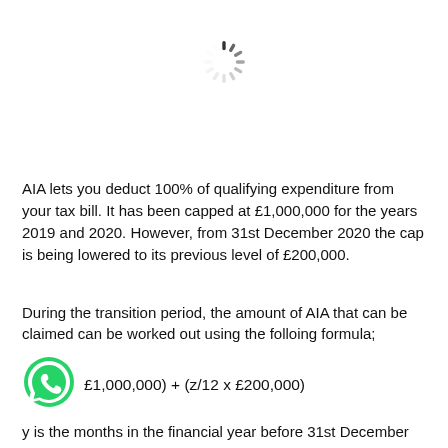[Figure (other): Loading spinner icon (circular dashed spinner animation graphic)]
AIA lets you deduct 100% of qualifying expenditure from your tax bill. It has been capped at £1,000,000 for the years 2019 and 2020. However, from 31st December 2020 the cap is being lowered to its previous level of £200,000.
During the transition period, the amount of AIA that can be claimed can be worked out using the folloing formula;
[Figure (other): WhatsApp green phone icon]
y is the months in the financial year before 31st December 2020, and